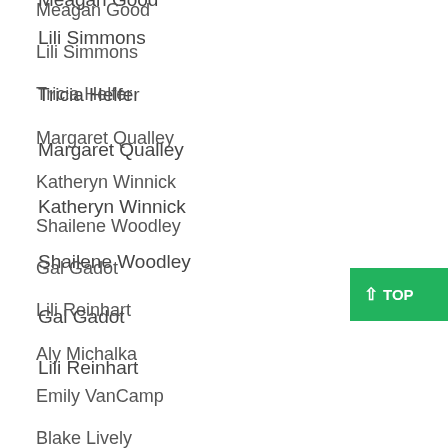Meagan Good
Lili Simmons
Tricia Helfer
Margaret Qualley
Katheryn Winnick
Shailene Woodley
Gal Gadot
Lili Reinhart
Aly Michalka
Emily VanCamp
Blake Lively